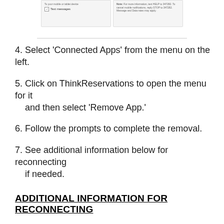[Figure (screenshot): Two side-by-side screenshot boxes showing a mobile notification/text message setup UI with a checkbox for 'Text messages' and a note about HELP/STOP instructions.]
4. Select 'Connected Apps' from the menu on the left.
5. Click on ThinkReservations to open the menu for it and then select 'Remove App.'
6. Follow the prompts to complete the removal.
7. See additional information below for reconnecting if needed.
ADDITIONAL INFORMATION FOR RECONNECTING